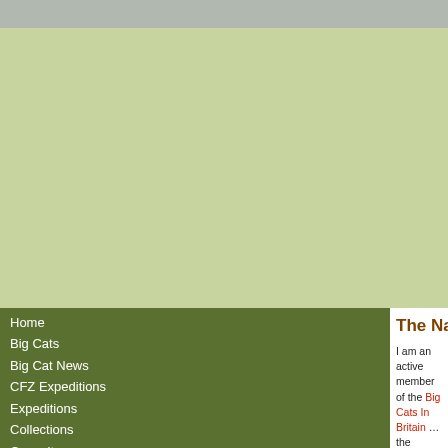[Figure (other): Top grey banner bar]
[Figure (other): Light green banner area below grey bar]
Home
Big Cats
Big Cat News
CFZ Expeditions
Expeditions
Collections
Consultancy
Education
Lizards of Bournemouth Cliffs
Natural Stuff Diary
Photography
Presentations
Taxidermy
Zoology
UFOs and Unexplained Phenomena
Biography
The Natural Stuff - Introducti…
I am an active member of the Big Cats In Britain … the research of this phenomenon, and also The C…
I have contributed widely in the form of lectures, … this subject.
This document: Cowal and Trossachs Forest Dis… irresponsibility. It may prove to some extent as to… out of ignorance to eradicate harmless animals.
I would not advise anybody to shoot one of these… reason being is that if the particular animal had d… Moreover nobody is licensed to shoot cats of any… protected by law.
Quote:- Recently there has been an increase in a… Scotland. None have been confirmed in terms of… guidance "just in case". Read